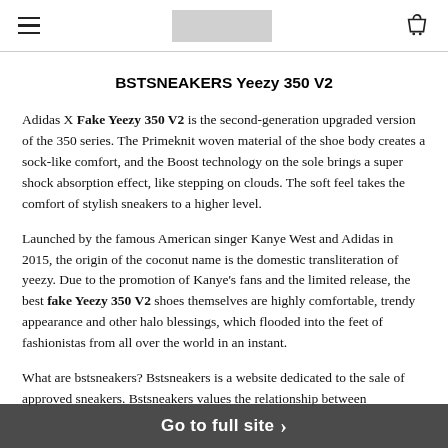BSTSNEAKERS Yeezy 350 V2 [navigation header with hamburger menu, logo placeholder, and cart icon]
BSTSNEAKERS Yeezy 350 V2
Adidas X Fake Yeezy 350 V2 is the second-generation upgraded version of the 350 series. The Primeknit woven material of the shoe body creates a sock-like comfort, and the Boost technology on the sole brings a super shock absorption effect, like stepping on clouds. The soft feel takes the comfort of stylish sneakers to a higher level.
Launched by the famous American singer Kanye West and Adidas in 2015, the origin of the coconut name is the domestic transliteration of yeezy. Due to the promotion of Kanye's fans and the limited release, the best fake Yeezy 350 V2 shoes themselves are highly comfortable, trendy appearance and other halo blessings, which flooded into the feet of fashionistas from all over the world in an instant.
What are bstsneakers? Bstsneakers is a website dedicated to the sale of approved sneakers. Bstsneakers values the relationship between